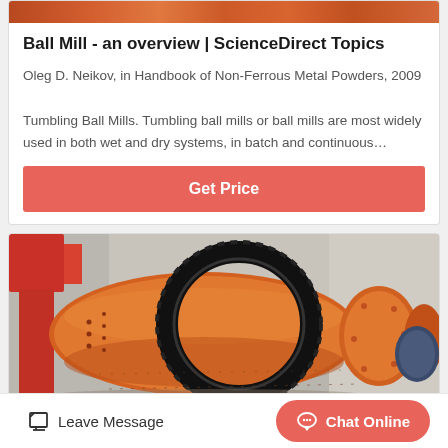[Figure (photo): Top portion of industrial ball mill machinery, orange/red colored equipment visible at the top of the card]
Ball Mill - an overview | ScienceDirect Topics
Oleg D. Neikov, in Handbook of Non-Ferrous Metal Powders, 2009
Tumbling Ball Mills. Tumbling ball mills or ball mills are most widely used in both wet and dry systems, in batch and continuous…
Get Price
[Figure (photo): Industrial ball mill with large black gear ring around an orange cylindrical drum, red structural support visible at upper left, photographed in an industrial facility]
Leave Message
Chat Online